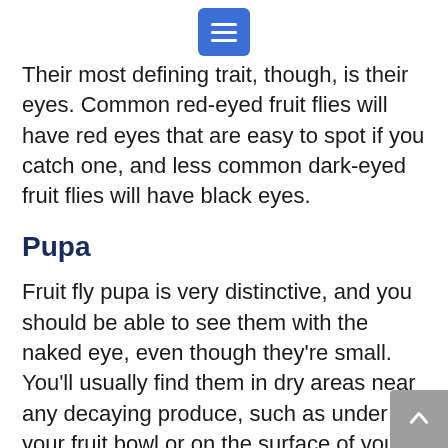[Figure (other): Blue hamburger menu button at top center of page]
Their most defining trait, though, is their eyes. Common red-eyed fruit flies will have red eyes that are easy to spot if you catch one, and less common dark-eyed fruit flies will have black eyes.
Pupa
Fruit fly pupa is very distinctive, and you should be able to see them with the naked eye, even though they're small. You'll usually find them in dry areas near any decaying produce, such as under your fruit bowl or on the surface of your kitchen counter. They resemble cockroach or rodent droppings and